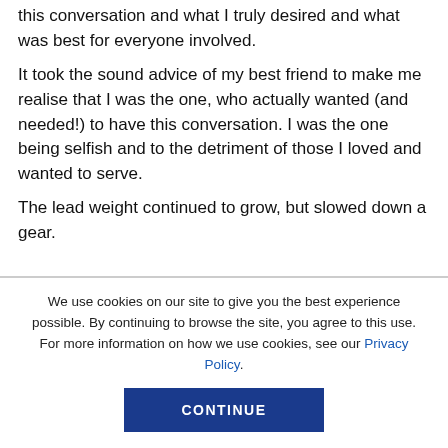this conversation and what I truly desired and what was best for everyone involved.
It took the sound advice of my best friend to make me realise that I was the one, who actually wanted (and needed!) to have this conversation. I was the one being selfish and to the detriment of those I loved and wanted to serve.
The lead weight continued to grow, but slowed down a gear.
We use cookies on our site to give you the best experience possible. By continuing to browse the site, you agree to this use. For more information on how we use cookies, see our Privacy Policy.
CONTINUE